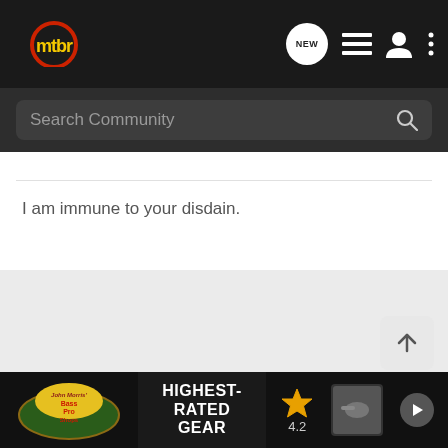mtbr
Search Community
I am immune to your disdain.
[Figure (screenshot): Bass Pro Shops ad banner with text HIGHEST-RATED GEAR, a star rating of 4.2, and a product image with a play button.]